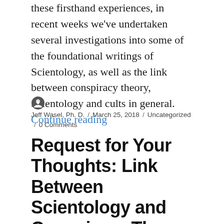these firsthand experiences, in recent weeks we've undertaken several investigations into some of the foundational writings of Scientology, as well as the link between conspiracy theory, Scientology and cults in general. Continue reading
Jeff Wasel, Ph. D. / March 25, 2018 / Uncategorized / 0 Comments
Request for Your Thoughts: Link Between Scientology and Conspiracy Theory Thinking?